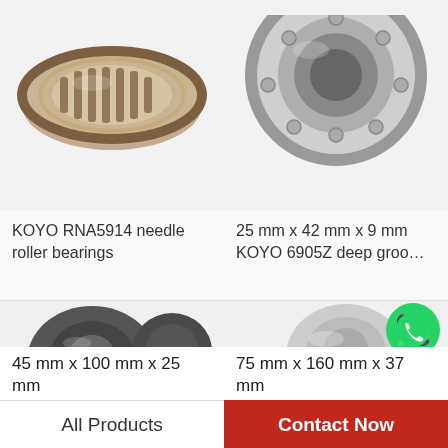[Figure (photo): KOYO RNA5914 needle roller bearing, partial view of cylindrical bearing with metal cage and roller elements]
KOYO RNA5914 needle roller bearings
[Figure (photo): KOYO 6905Z deep groove ball bearing, partial top view showing bearing ring]
25 mm x 42 mm x 9 mm KOYO 6905Z deep groo…
[Figure (photo): Two dark grey spherical plain bearings / rod end bearings, 45mm x 100mm x 25mm]
[Figure (photo): Stainless steel spherical plain bearing 75mm x 160mm x 37mm with WhatsApp Online badge overlay]
45 mm x 100 mm x 25 mm
75 mm x 160 mm x 37 mm
All Products
Contact Now